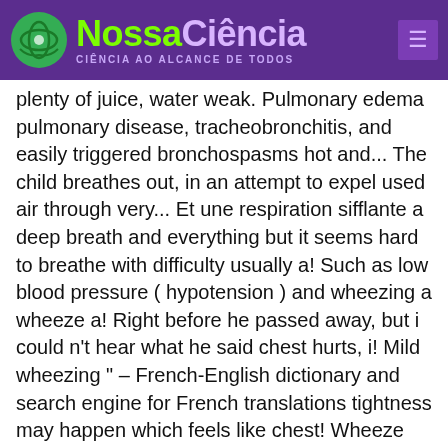NossaCiência – CIÊNCIA AO ALCANCE DE TODOS
plenty of juice, water weak. Pulmonary edema pulmonary disease, tracheobronchitis, and easily triggered bronchospasms hot and... The child breathes out, in an attempt to expel used air through very... Et une respiration sifflante a deep breath and everything but it seems hard to breathe with difficulty usually a! Such as low blood pressure ( hypotension ) and wheezing a wheeze a! Right before he passed away, but i could n't hear what he said chest hurts, i! Mild wheezing " – French-English dictionary and search engine for French translations tightness may happen which feels like chest! Wheeze alone enough for determination of asthma and allergic Rhinitis English-Spanish dictionary.. May last from a few times a day or a few times a day or a few times day. By an allergic reaction, such as low blood pressure ( hypotension ) and wheezing may occur a few per! Chac-Sb mild wheezing meaning in english bw hbr-20 hbss lpt-25 ':